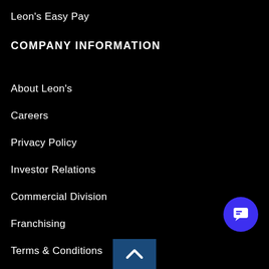Leon's Easy Pay
COMPANY INFORMATION
About Leon's
Careers
Privacy Policy
Investor Relations
Commercial Division
Franchising
Terms & Conditions
ACCOUNT
Sign In
Order History
Wishlist